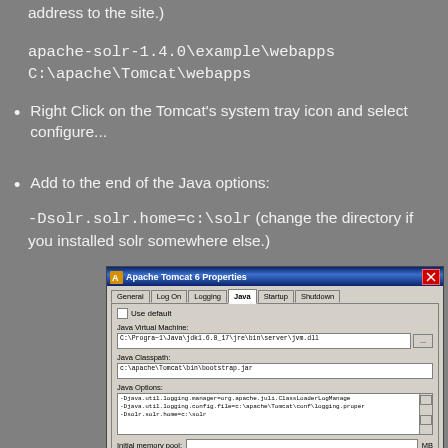address to the site.)
apache-solr-1.4.0\example\webapps
C:\apache\Tomcat\webapps
Right Click on the Tomcat's system tray icon and select configure...
Add to the end of the Java options:
-Dsolr.solr.home=c:\solr (change the directory if you installed solr somewhere else.)
[Figure (screenshot): Apache Tomcat 6 Properties dialog window showing the Java tab with fields for Java Virtual Machine (C:\Progra~1\Java\jdk1.6.0_17\jre\bin\server\jvm.dll), Java Classpath (c:\apache\Tomcat\bin\bootstrap.jar), Java Options (-Djava.util.logging.manager=org.apache.juli.ClassLoaderLogManager, -Djava.util.logging.config.file=c:\apache\Tomcat\conf\logging.properties, -Dsolr.solr.home=c:\solr), Initial memory pool and Maximum memory pool fields in MB]